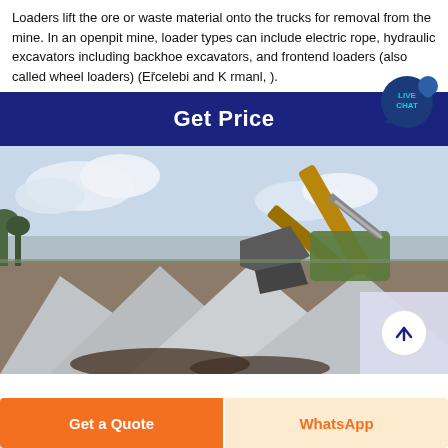Loaders lift the ore or waste material onto the trucks for removal from the mine. In an openpit mine, loader types can include electric rope, hydraulic excavators including backhoe excavators, and frontend loaders (also called wheel loaders) (Erˇcelebi and K rmanl, ).
Get Price
[Figure (photo): Photograph of an excavator/backhoe loading or digging material at an open-pit mine site, with large concrete or metal plates visible in the foreground and cloudy sky in background. A scroll-up arrow button overlay appears in the lower right.]
Get a Quote
WhatsApp